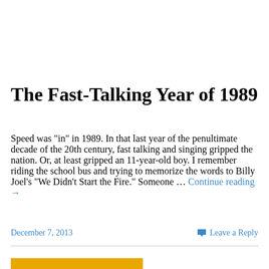The Fast-Talking Year of 1989
Speed was "in" in 1989. In that last year of the penultimate decade of the 20th century, fast talking and singing gripped the nation. Or, at least gripped an 11-year-old boy. I remember riding the school bus and trying to memorize the words to Billy Joel's "We Didn't Start the Fire." Someone … Continue reading →
December 7, 2013
Leave a Reply